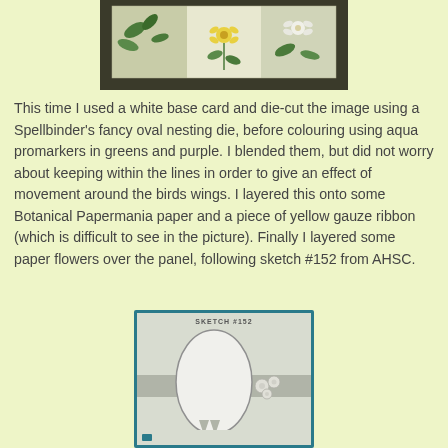[Figure (photo): A photograph of botanical/floral cards or paper with green and yellow flower designs on a dark background]
This time I used a white base card and die-cut the image using a Spellbinder's fancy oval nesting die, before colouring using aqua promarkers in greens and purple. I blended them, but did not worry about keeping within the lines in order to give an effect of movement around the birds wings. I layered this onto some Botanical Papermania paper and a piece of yellow gauze ribbon (which is difficult to see in the picture). Finally I layered some paper flowers over the panel, following sketch #152 from AHSC.
[Figure (illustration): Sketch #152 from AHSC - a card making sketch showing an oval panel centered on a card with a horizontal ribbon band and small flower embellishments at bottom, with a teal/blue border]